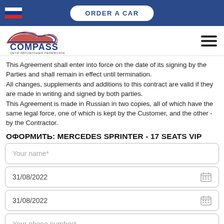ORDER A CAR
[Figure (logo): Compass car rental company logo with stylized car silhouette in red and blue]
This Agreement shall enter into force on the date of its signing by the Parties and shall remain in effect until termination.
All changes, supplements and additions to this contract are valid if they are made in writing and signed by both parties.
This Agreement is made in Russian in two copies, all of which have the same legal force, one of which is kept by the Customer, and the other - by the Contractor.
ОФОРМИТЬ: MERCEDES SPRINTER - 17 SEATS VIP
Your name*
31/08/2022
31/08/2022
Your phone number*